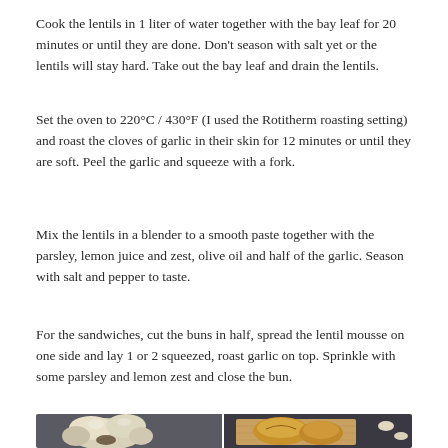Cook the lentils in 1 liter of water together with the bay leaf for 20 minutes or until they are done. Don't season with salt yet or the lentils will stay hard. Take out the bay leaf and drain the lentils.
Set the oven to 220°C / 430°F (I used the Rotitherm roasting setting) and roast the cloves of garlic in their skin for 12 minutes or until they are soft. Peel the garlic and squeeze with a fork.
Mix the lentils in a blender to a smooth paste together with the parsley, lemon juice and zest, olive oil and half of the garlic. Season with salt and pepper to taste.
For the sandwiches, cut the buns in half, spread the lentil mousse on one side and lay 1 or 2 squeezed, roast garlic on top. Sprinkle with some parsley and lemon zest and close the bun.
[Figure (photo): Two food photos side by side: left shows whole and separated garlic bulbs/cloves on a dark background; right shows rustic bread rolls on a wooden board with garlic cloves on a dark slate surface.]